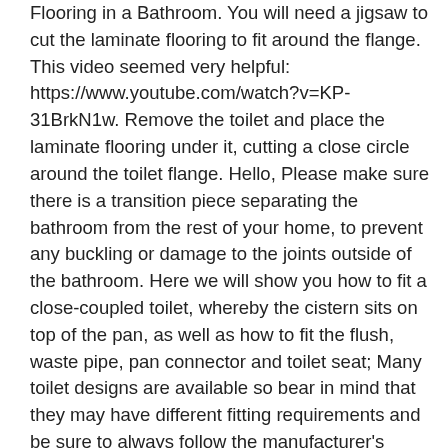Flooring in a Bathroom. You will need a jigsaw to cut the laminate flooring to fit around the flange. This video seemed very helpful: https://www.youtube.com/watch?v=KP-31BrkN1w. Remove the toilet and place the laminate flooring under it, cutting a close circle around the toilet flange. Hello, Please make sure there is a transition piece separating the bathroom from the rest of your home, to prevent any buckling or damage to the joints outside of the bathroom. Here we will show you how to fit a close-coupled toilet, whereby the cistern sits on top of the pan, as well as how to fit the flush, waste pipe, pan connector and toilet seat; Many toilet designs are available so bear in mind that they may have different fitting requirements and be sure to always follow the manufacturer's instructions Required fields are marked *. Your templates need to be the exact same size as your planks. Before you get going on your flooring project, make sure that you've prepped correctly. Since it is a floating system I am worry about the weight of the double vanity (about 300 lbs) over the floor considering that the planks expand. So, what I am thinking